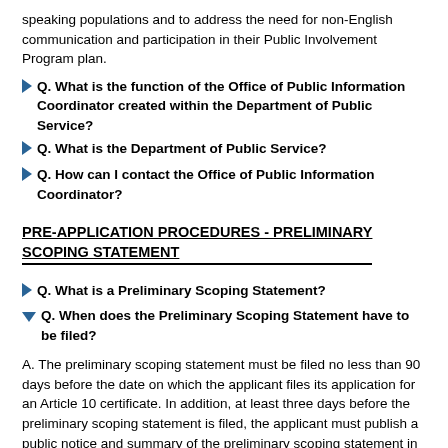speaking populations and to address the need for non-English communication and participation in their Public Involvement Program plan.
Q. What is the function of the Office of Public Information Coordinator created within the Department of Public Service?
Q. What is the Department of Public Service?
Q. How can I contact the Office of Public Information Coordinator?
PRE-APPLICATION PROCEDURES - PRELIMINARY SCOPING STATEMENT
Q. What is a Preliminary Scoping Statement?
Q. When does the Preliminary Scoping Statement have to be filed?
A. The preliminary scoping statement must be filed no less than 90 days before the date on which the applicant files its application for an Article 10 certificate. In addition, at least three days before the preliminary scoping statement is filed, the applicant must publish a public notice and summary of the preliminary scoping statement in local newspapers in the affected area and serve a copy of the notice and summary upon public officials and all persons who requested to receive such notices.